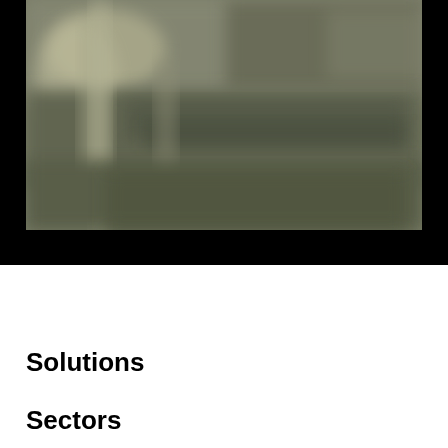[Figure (photo): A blurry/out-of-focus photograph showing what appears to be an industrial or architectural interior with greenish-grey tones, displayed on a black background.]
Solutions
Sectors